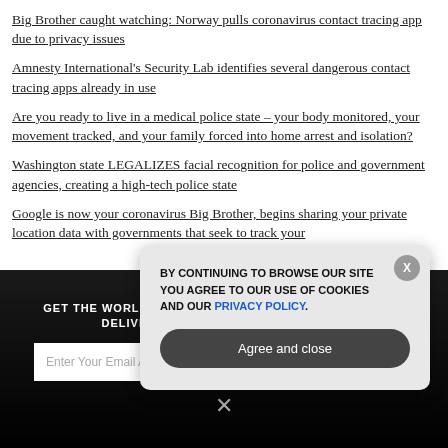Big Brother caught watching: Norway pulls coronavirus contact tracing app due to privacy issues
Amnesty International's Security Lab identifies several dangerous contact tracing apps already in use
Are you ready to live in a medical police state – your body monitored, your movement tracked, and your family forced into home arrest and isolation?
Washington state LEGALIZES facial recognition for police and government agencies, creating a high-tech police state
Google is now your coronavirus Big Brother, begins sharing your private location data with governments that seek to track your
GET THE WORLD'S BEST NATURAL HEALTH NEWSLETTER DELIVERED STRAIGHT TO YOUR INBOX
Enter Your Email Address
SUBSCRIBE
BY CONTINUING TO BROWSE OUR SITE YOU AGREE TO OUR USE OF COOKIES AND OUR PRIVACY POLICY.
Agree and close